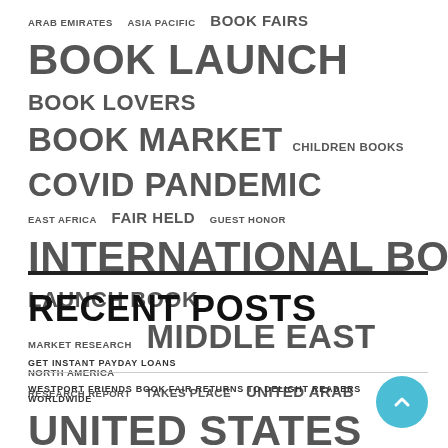[Figure (infographic): Tag cloud with terms related to book fairs and publishing, varying font sizes indicating frequency/importance. Terms include: ARAB EMIRATES, ASIA PACIFIC, BOOK FAIRS, BOOK LAUNCH, BOOK LOVERS, BOOK MARKET, CHILDREN BOOKS, COVID PANDEMIC, EAST AFRICA, FAIR HELD, GUEST HONOR, INTERNATIONAL BOOK, LAUNCH BOOK, MARKET RESEARCH, MIDDLE EAST, NORTH AMERICA, RESEARCH REPORT, TAKES PLACE, UNITED ARAB, UNITED STATES]
RECENT POSTS
GET INSTANT PAYDAY LOANS
WESTPORT FRIENDS BOOK FAIR RETURNS TO DELIGHT READERS WORLDWIDE